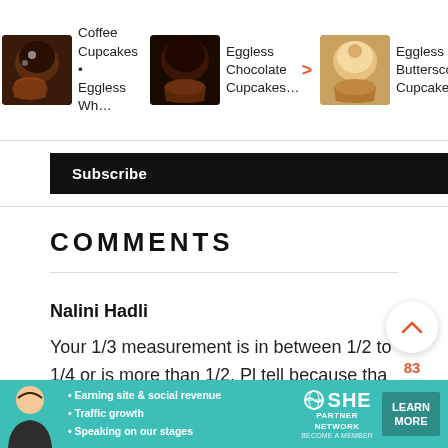[Figure (screenshot): Carousel of cupcake recipe thumbnails: Coffee Cupcakes • Eggless Wh…, Eggless Chocolate Cupcakes…, Eggless Butterscote Cupcakes…]
Subscribe
COMMENTS
Nalini Hadli
Your 1/3 measurement is in between 1/2 to 1/4 or is more than 1/2. Pl tell because tha wing went wrong with pista chocolate fudge
[Figure (screenshot): Ad banner: SHE Partner Network — Earning site & social revenue, Traffic growth, Speaking on our stages. LEARN MORE button.]